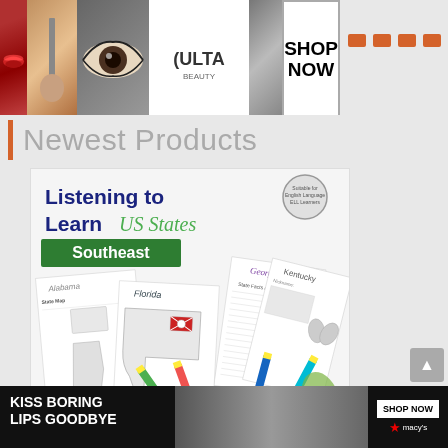[Figure (photo): Ulta Beauty advertisement banner with makeup images including lips, brush, eye, logo, and face. SHOP NOW button visible.]
Newest Products
[Figure (illustration): Product listing card for 'Listening to Learn US States Southeast' educational resource by Randi Smith from peanutbutterfishlessons.com. Shows worksheets for Alabama, Florida, Georgia, and Kentucky states with colorful pencils. Green badge reads 'Southeast'.]
[Figure (photo): Macy's advertisement banner: 'KISS BORING LIPS GOODBYE' with SHOP NOW button and Macy's star logo.]